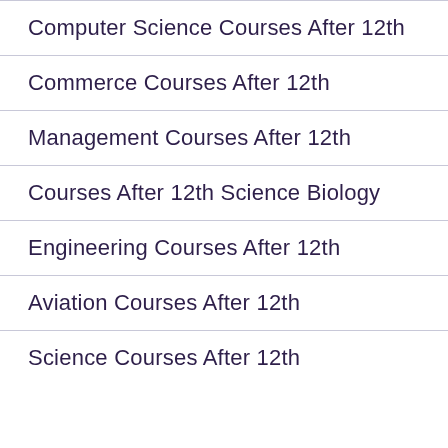Computer Science Courses After 12th
Commerce Courses After 12th
Management Courses After 12th
Courses After 12th Science Biology
Engineering Courses After 12th
Aviation Courses After 12th
Science Courses After 12th